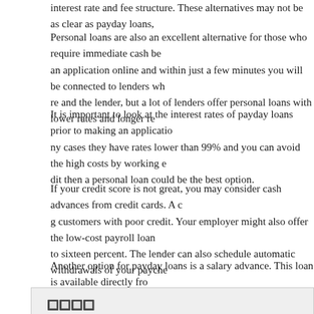interest rate and fee structure. These alternatives may not be as clear as payday loans,
Personal loans are also an excellent alternative for those who require immediate cash be an application online and within just a few minutes you will be connected to lenders wh re and the lender, but a lot of lenders offer personal loans with lower rates and longer re
It is important to look at the interest rates of payday loans prior to making an applicatio ny cases they have rates lower than 99% and you can avoid the high costs by working e dit then a personal loan could be the best option.
If your credit score is not great, you may consider cash advances from credit cards. A c g customers with poor credit. Your employer might also offer the low-cost payroll loan to sixteen percent. The lender can also schedule automatic withdrawals of your payche
Another option for payday loans is a salary advance. This loan is available directly fro as simple as getting a payday loan but it is quick, simple, and easy to repay. However it
🔲🔲🔲🔲